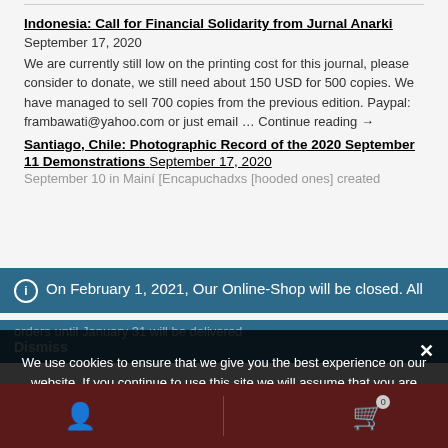Anarchists Worldwide
Indonesia: Call for Financial Solidarity from Jurnal Anarki
September 17, 2020
We are currently still low on the printing cost for this journal, please consider to donate, we still need about 150 USD for 500 copies. We have managed to sell 700 copies from the previous edition. Paypal: frambawati@yahoo.com or just email ... Continue reading →
Santiago, Chile: Photographic Record of the 2020 September 11 Demonstrations
September 17, 2020
September 10 in Mainí [Encapuchadxs [hooded ones] created
On February 1, 2021, Our Online-Shop will be closed. All orders until January 31 will be delivered
Dismiss
We use cookies to ensure that we give you the best experience on our website. If you continue to use this site we will assume that you are happy with it.
Ok